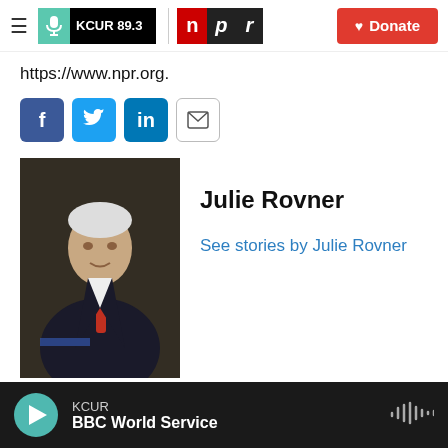KCUR 89.3 | npr — Donate
https://www.npr.org.
[Figure (infographic): Social share buttons: Facebook (blue), Twitter (blue), LinkedIn (blue), Email (white outline)]
[Figure (photo): Photo of a man in a dark suit with a red tie speaking at a podium]
Julie Rovner
See stories by Julie Rovner
KCUR — BBC World Service (audio player)